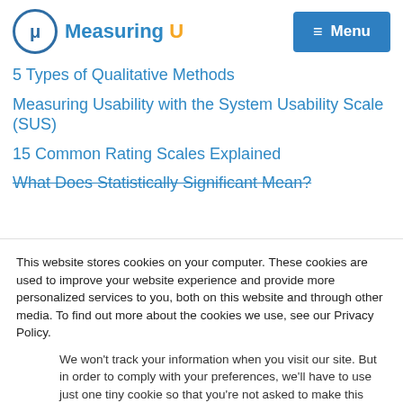Measuring U — Menu
5 Types of Qualitative Methods
Measuring Usability with the System Usability Scale (SUS)
15 Common Rating Scales Explained
What Does Statistically Significant Mean?
This website stores cookies on your computer. These cookies are used to improve your website experience and provide more personalized services to you, both on this website and through other media. To find out more about the cookies we use, see our Privacy Policy.
We won't track your information when you visit our site. But in order to comply with your preferences, we'll have to use just one tiny cookie so that you're not asked to make this choice again.